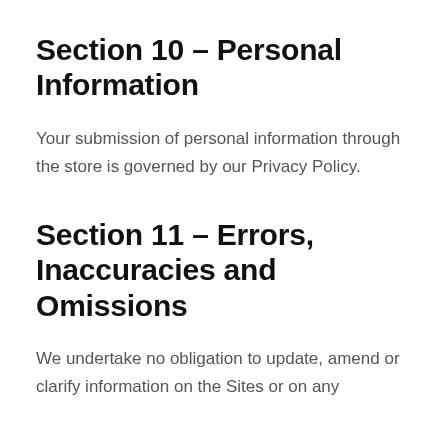Section 10 – Personal Information
Your submission of personal information through the store is governed by our Privacy Policy.
Section 11 – Errors, Inaccuracies and Omissions
We undertake no obligation to update, amend or clarify information on the Sites or on any